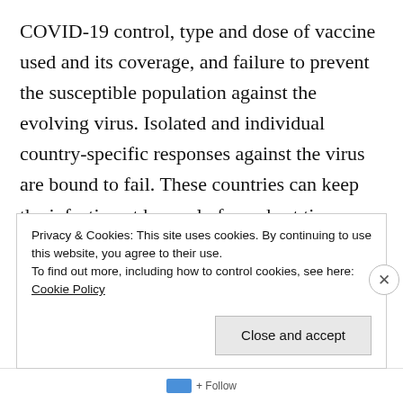COVID-19 control, type and dose of vaccine used and its coverage, and failure to prevent the susceptible population against the evolving virus. Isolated and individual country-specific responses against the virus are bound to fail. These countries can keep the infection at bay only for a short time, only to be infected later due to mobility. People in these countries are always at risk of getting infected with newer variants of the virus.
Privacy & Cookies: This site uses cookies. By continuing to use this website, you agree to their use.
To find out more, including how to control cookies, see here: Cookie Policy
Close and accept